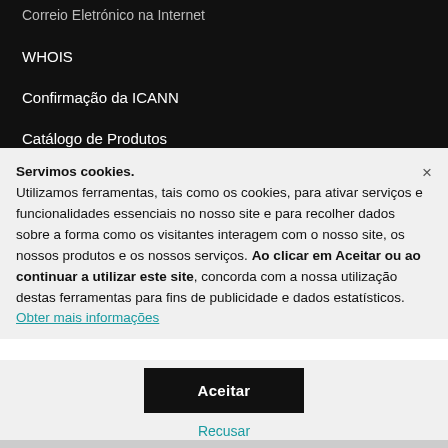Correio Eletrónico na Internet
WHOIS
Confirmação da ICANN
Catálogo de Produtos
Gerador de Nomes Empresariais
Servimos cookies. Utilizamos ferramentas, tais como os cookies, para ativar serviços e funcionalidades essenciais no nosso site e para recolher dados sobre a forma como os visitantes interagem com o nosso site, os nossos produtos e os nossos serviços. Ao clicar em Aceitar ou ao continuar a utilizar este site, concorda com a nossa utilização destas ferramentas para fins de publicidade e dados estatísticos. Obter mais informações
Aceitar
Recusar
Gerir definições